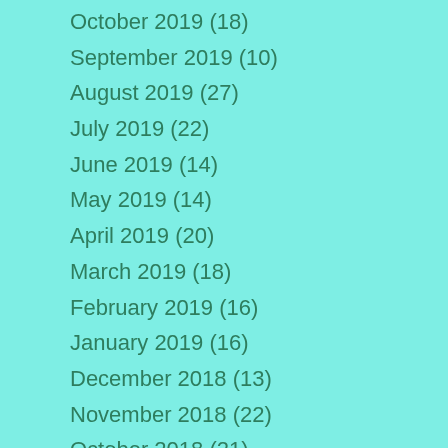October 2019 (18)
September 2019 (10)
August 2019 (27)
July 2019 (22)
June 2019 (14)
May 2019 (14)
April 2019 (20)
March 2019 (18)
February 2019 (16)
January 2019 (16)
December 2018 (13)
November 2018 (22)
October 2018 (21)
September 2018 (16)
August 2018 (17)
July 2018 (16)
June 2018 (21)
May 2018 (23)